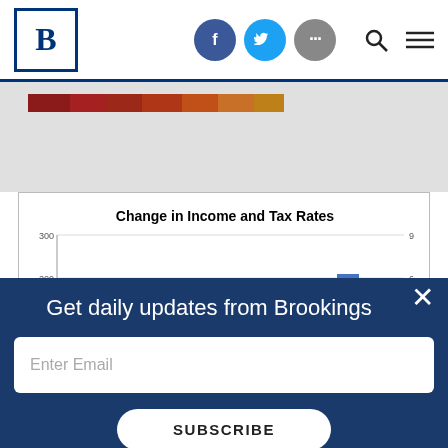Brookings Institution header with social icons (Facebook, Twitter, more), search, and menu
[Figure (other): Partial image with a color strip (dark reds, oranges) partially visible at top]
[Figure (grouped-bar-chart): Change in Income and Tax Rates]
Get daily updates from Brookings
Enter Email
SUBSCRIBE